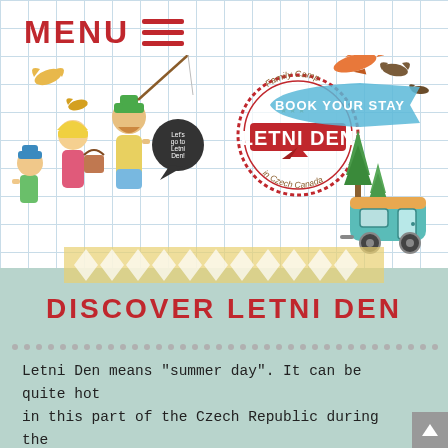MENU ☰
[Figure (illustration): Family camp Letni Den website header illustration: family walking with fishing rod and picnic basket, speech bubble 'Let's go to Letni Den!', circular stamp reading 'Family Camp LETNI DEN in Czech Canada', ribbon banner reading 'BOOK YOUR STAY', airplane, birds, camper trailer, trees, yellow chevron banner, on a graph-paper background]
DISCOVER LETNI DEN
Letni Den means "summer day". It can be quite hot in this part of the Czech Republic during the summer. The name "Letni Den" too represents the